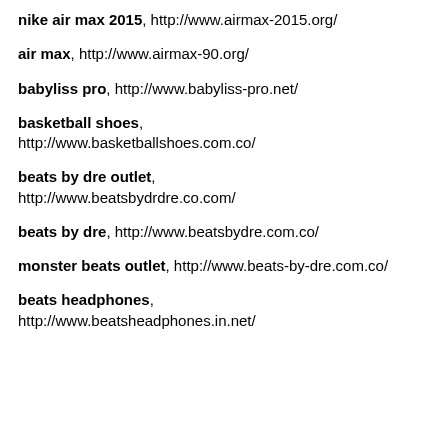nike air max 2015, http://www.airmax-2015.org/
air max, http://www.airmax-90.org/
babyliss pro, http://www.babyliss-pro.net/
basketball shoes, http://www.basketballshoes.com.co/
beats by dre outlet, http://www.beatsbydrdre.co.com/
beats by dre, http://www.beatsbydre.com.co/
monster beats outlet, http://www.beats-by-dre.com.co/
beats headphones, http://www.beatsheadphones.in.net/